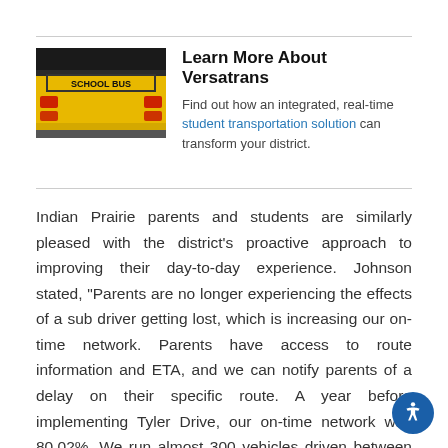[Figure (photo): School bus rear view with yellow exterior and red lights, close-up shot]
Learn More About Versatrans
Find out how an integrated, real-time student transportation solution can transform your district.
Indian Prairie parents and students are similarly pleased with the district’s proactive approach to improving their day-to-day experience. Johnson stated, “Parents are no longer experiencing the effects of a sub driver getting lost, which is increasing our on-time network. Parents have access to route information and ETA, and we can notify parents of a delay on their specific route. A year before implementing Tyler Drive, our on-time network was 80.02%. We run almost 300 vehicles driven between 1,200 and 1,250 routes per day. Since the implementation of Tyler Drive, our on-time network is